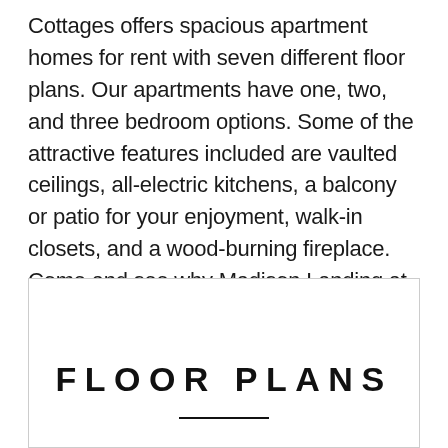Cottages offers spacious apartment homes for rent with seven different floor plans. Our apartments have one, two, and three bedroom options. Some of the attractive features included are vaulted ceilings, all-electric kitchens, a balcony or patio for your enjoyment, walk-in closets, and a wood-burning fireplace. Come and see why Madison Landing at Research Park and the Cottages apartments is one of the best-kept secrets in Madison, AL.
FLOOR PLANS